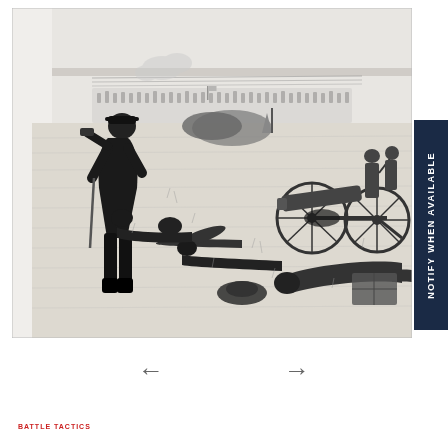[Figure (illustration): Black and white pencil/engraving-style illustration of a Civil War battle scene. In the foreground, a Union officer stands with a sword, looking out over the battlefield. Behind him, fallen soldiers lie on the ground along with scattered hats and equipment. In the middle ground, cannon artillery and soldiers are visible. In the background, a large mass of troops advances across the field.]
NOTIFY WHEN AVAILABLE
BATTLE TACTICS